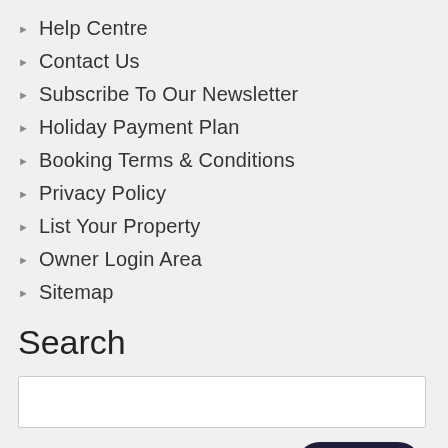Help Centre
Contact Us
Subscribe To Our Newsletter
Holiday Payment Plan
Booking Terms & Conditions
Privacy Policy
List Your Property
Owner Login Area
Sitemap
Search